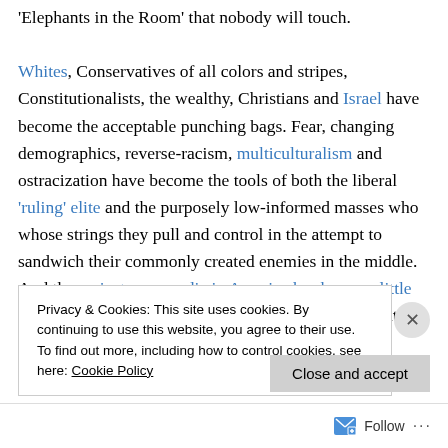'Elephants in the Room' that nobody will touch. Whites, Conservatives of all colors and stripes, Constitutionalists, the wealthy, Christians and Israel have become the acceptable punching bags. Fear, changing demographics, reverse-racism, multiculturalism and ostracization have become the tools of both the liberal 'ruling' elite and the purposely low-informed masses who whose strings they pull and control in the attempt to sandwich their commonly created enemies in the middle. And the mainstream media in America has become little less than a propaganda arm of the Democrat party that
Privacy & Cookies: This site uses cookies. By continuing to use this website, you agree to their use. To find out more, including how to control cookies, see here: Cookie Policy
Close and accept
Follow